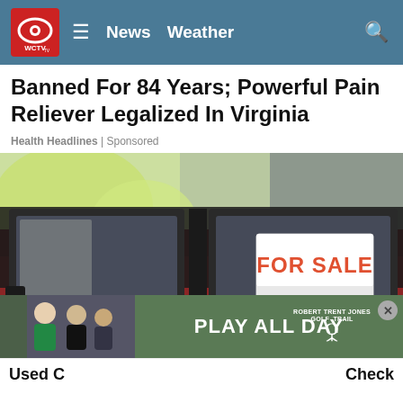WCTV News Weather
Banned For 84 Years; Powerful Pain Reliever Legalized In Virginia
Health Headlines | Sponsored
[Figure (photo): Close-up photo of a red/maroon car window with a FOR SALE sign displayed in the window. Background shows blurred outdoor scenery.]
PLAY ALL DAY
ROBERT TRENT JONES GOLF TRAIL
Used C...    Check